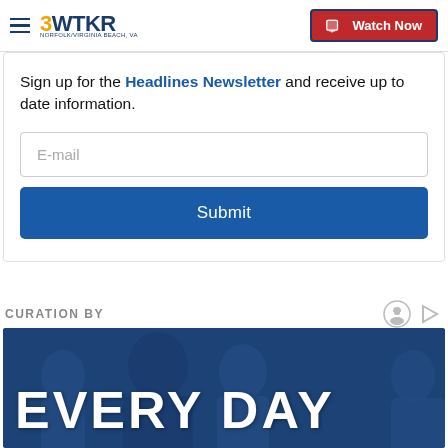3WTKR — Watch Now
Sign up for the Headlines Newsletter and receive up to date information.
E-mail
Submit
CURATION BY
[Figure (photo): Group of smiling diverse people with blue overlay and large white text reading EVERY DAY]